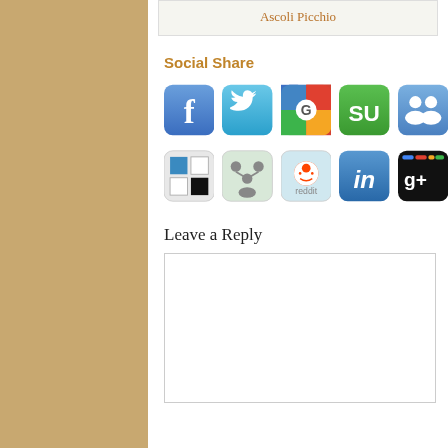Ascoli Picchio
Social Share
[Figure (screenshot): Two rows of social media sharing icon buttons: Row 1: Facebook, Twitter, Google+, StumbleUpon, a group/people icon. Row 2: Windows/Metro tile icon, a people/connect icon, Reddit, LinkedIn, Google+.]
Leave a Reply
[Figure (screenshot): Empty text input/reply box with light border]